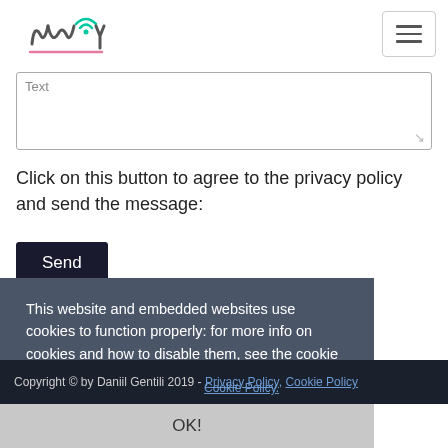NWPY logo and navigation menu
Text
Click on this button to agree to the privacy policy and send the message:
Send
This website and embedded websites use cookies to function properly: for more info on cookies and how to disable them, see the cookie policy.
Copyright © by Daniil Gentili 2019 - Privacy Policy, Cookie Policy
OK!